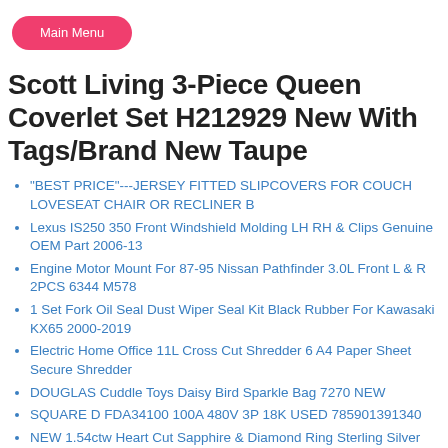Main Menu
Scott Living 3-Piece Queen Coverlet Set H212929 New With Tags/Brand New Taupe
"BEST PRICE"---JERSEY FITTED SLIPCOVERS FOR COUCH LOVESEAT CHAIR OR RECLINER B
Lexus IS250 350 Front Windshield Molding LH RH & Clips Genuine OEM Part 2006-13
Engine Motor Mount For 87-95 Nissan Pathfinder 3.0L Front L & R 2PCS 6344 M578
1 Set Fork Oil Seal Dust Wiper Seal Kit Black Rubber For Kawasaki KX65 2000-2019
Electric Home Office 11L Cross Cut Shredder 6 A4 Paper Sheet Secure Shredder
DOUGLAS Cuddle Toys Daisy Bird Sparkle Bag 7270 NEW
SQUARE D FDA34100 100A 480V 3P 18K USED 785901391340
NEW 1.54ctw Heart Cut Sapphire & Diamond Ring Sterling Silver Women's